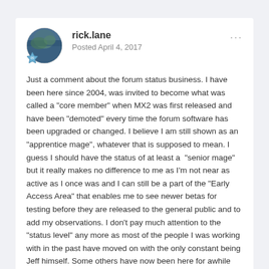rick.lane
Posted April 4, 2017
Just a comment about the forum status business. I have been here since 2004, was invited to become what was called a "core member" when MX2 was first released and have been "demoted" every time the forum software has been upgraded or changed. I believe I am still shown as an "apprentice mage", whatever that is supposed to mean. I guess I should have the status of at least a  "senior mage" but it really makes no difference to me as I'm not near as active as I once was and I can still be a part of the "Early Access Area" that enables me to see newer betas for testing before they are released to the general public and to add my observations. I don't pay much attention to the "status level" any more as most of the people I was working with in the past have moved on with the only constant being Jeff himself. Some others have now been here for awhile and have taken on the roles of moderators and are doing a pretty good job though one can see some loyalty waning in some of the members. I guess, as I have found in my own life, most things run their course and one has to move on.